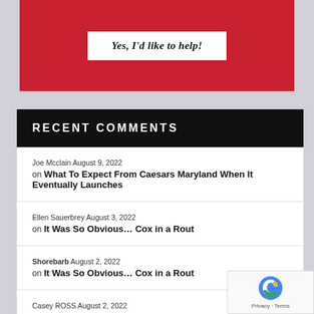[Figure (other): Red banner with white button labeled 'Yes, I'd like to help!']
RECENT COMMENTS
Joe Mcclain August 9, 2022 on What To Expect From Caesars Maryland When It Eventually Launches
Ellen Sauerbrey August 3, 2022 on It Was So Obvious… Cox in a Rout
Shorebarb August 2, 2022 on It Was So Obvious… Cox in a Rout
Casey ROSS August 2, 2022